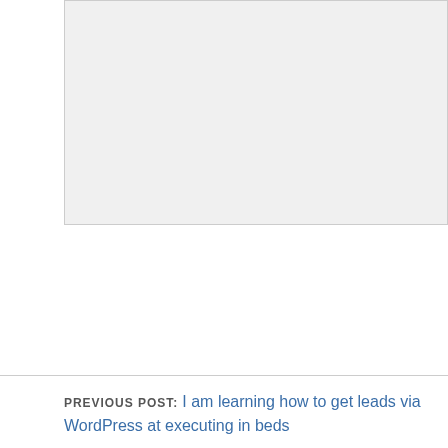[Figure (screenshot): A grey textarea input box, partially visible at top of page]
Submit
PREVIOUS POST: I am learning how to get leads via WordPress at executing in beds
NEXT POST: Innovating Sonar and Location Based Networking Sta Industry